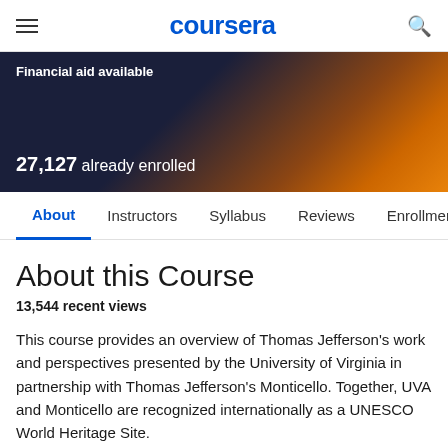coursera
Financial aid available
27,127 already enrolled
About  Instructors  Syllabus  Reviews  Enrollment Opt
About this Course
13,544 recent views
This course provides an overview of Thomas Jefferson's work and perspectives presented by the University of Virginia in partnership with Thomas Jefferson's Monticello. Together, UVA and Monticello are recognized internationally as a UNESCO World Heritage Site.